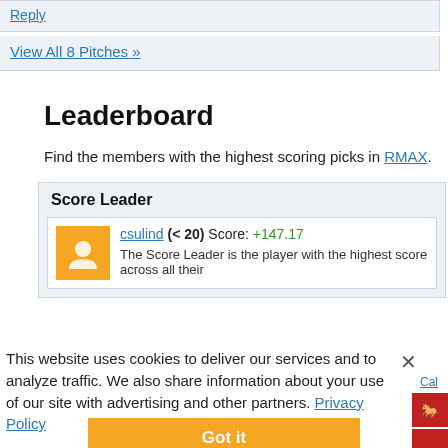Reply
View All 8 Pitches »
Leaderboard
Find the members with the highest scoring picks in RMAX.
Score Leader
csulind (< 20) Score: +147.17
The Score Leader is the player with the highest score across all their
This website uses cookies to deliver our services and to analyze traffic. We also share information about your use of our site with advertising and other partners. Privacy Policy
Got it
Cookie Settings